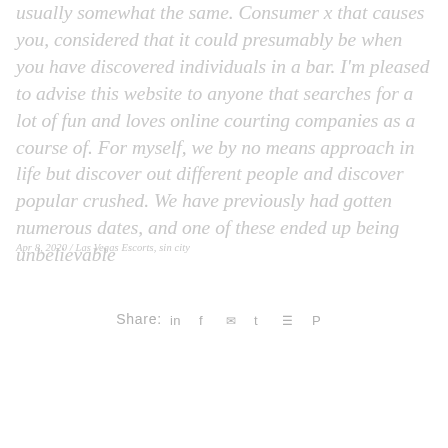usually somewhat the same. Consumer x that causes you, considered that it could presumably be when you have discovered individuals in a bar. I'm pleased to advise this website to anyone that searches for a lot of fun and loves online courting companies as a course of. For myself, we by no means approach in life but discover out different people and discover popular crushed. We have previously had gotten numerous dates, and one of these ended up being unbelievable
Apr 8, 2020 / Las Vegas Escorts, sin city
Share: